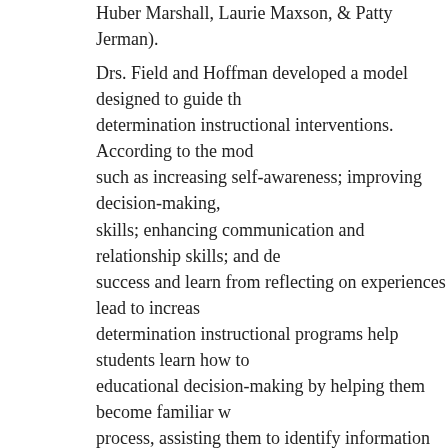Huber Marshall, Laurie Maxson, & Patty Jerman).
Drs. Field and Hoffman developed a model designed to guide the self-determination instructional interventions. According to the model, skills such as increasing self-awareness; improving decision-making, goal-setting skills; enhancing communication and relationship skills; and developing skills to success and learn from reflecting on experiences lead to increased self-determination instructional programs help students learn how to participate in educational decision-making by helping them become familiar with the IEP process, assisting them to identify information they would like to share at their meetings, and supporting students to develop skills to effectively express their wants. Examples of activities used in self-determination instructional programs focus on daydreams to help students decide what is important to them, identify goals that are important to them and then, with the support of peers, family, develop steps to achieve those goals. Providing contextual supports and opportunities, coaching for problem-solving and offering opportunities for choice-making can lead to meeting needs for competence, autonomy and relatedness and thus self-determination.